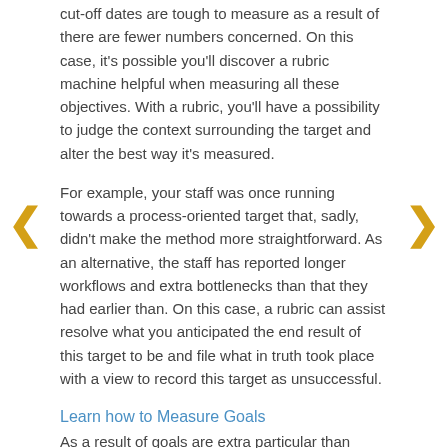cut-off dates are tough to measure as a result of there are fewer numbers concerned. On this case, it's possible you'll discover a rubric machine helpful when measuring all these objectives. With a rubric, you'll have a possibility to judge the context surrounding the target and alter the best way it's measured.
For example, your staff was once running towards a process-oriented target that, sadly, didn't make the method more straightforward. As an alternative, the staff has reported longer workflows and extra bottlenecks than that they had earlier than. On this case, a rubric can assist resolve what you anticipated the end result of this target to be and file what in truth took place with a view to record this target as unsuccessful.
Learn how to Measure Goals
As a result of goals are extra particular than